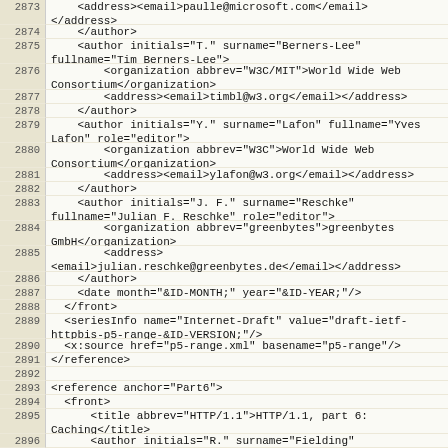Code listing lines 2873-2896 showing XML source for HTTP/1.1 RFC editor references
2873: <address><email>paulle@microsoft.com</email>
2873: </address>
2874:     </author>
2875:     <author initials="T." surname="Berners-Lee" fullname="Tim Berners-Lee">
2876:         <organization abbrev="W3C/MIT">World Wide Web Consortium</organization>
2877:         <address><email>timbl@w3.org</email></address>
2878:     </author>
2879:     <author initials="Y." surname="Lafon" fullname="Yves Lafon" role="editor">
2880:         <organization abbrev="W3C">World Wide Web Consortium</organization>
2881:         <address><email>ylafon@w3.org</email></address>
2882:     </author>
2883:     <author initials="J. F." surname="Reschke" fullname="Julian F. Reschke" role="editor">
2884:         <organization abbrev="greenbytes">greenbytes GmbH</organization>
2885:         <address>
<email>julian.reschke@greenbytes.de</email></address>
2886:     </author>
2887:     <date month="&ID-MONTH;" year="&ID-YEAR;"/>
2888:   </front>
2889:   <seriesInfo name="Internet-Draft" value="draft-ietf-httpbis-p5-range-&ID-VERSION;"/>
2890:   <x:source href="p5-range.xml" basename="p5-range"/>
2891: </reference>
2892: (blank)
2893: <reference anchor="Part6">
2894:   <front>
2895:       <title abbrev="HTTP/1.1">HTTP/1.1, part 6: Caching</title>
2896:       <author initials="R." surname="Fielding"